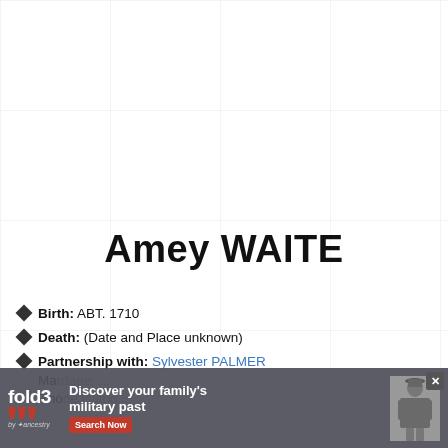Amey WAITE
Birth: ABT. 1710
Death: (Date and Place unknown)
Partnership with: Sylvester PALMER Marriage: ... Rhode Island...
[Figure (screenshot): fold3 by Ancestry advertisement banner: Discover your family's military past. Search Now. With photo of Civil War soldier.]